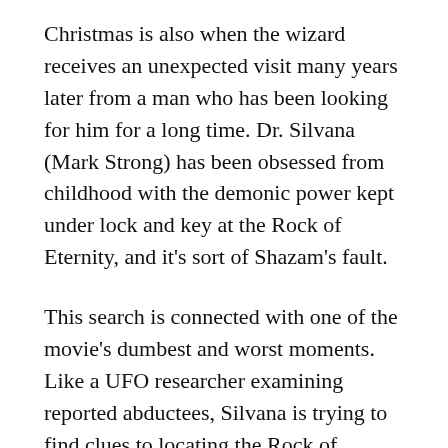Christmas is also when the wizard receives an unexpected visit many years later from a man who has been looking for him for a long time. Dr. Silvana (Mark Strong) has been obsessed from childhood with the demonic power kept under lock and key at the Rock of Eternity, and it's sort of Shazam's fault.
This search is connected with one of the movie's dumbest and worst moments. Like a UFO researcher examining reported abductees, Silvana is trying to find clues to locating the Rock of Eternity by interviewing people who had the same experience he did.
Fine. Except, instead of leading the investigation, Silvana plays the role of benefactor, funding a research scientist played by Lotta Losten, who thinks she's